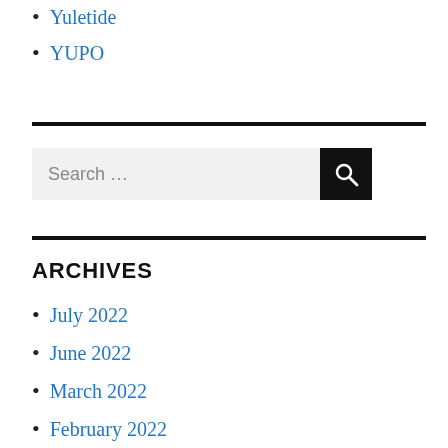Yuletide
YUPO
ARCHIVES
July 2022
June 2022
March 2022
February 2022